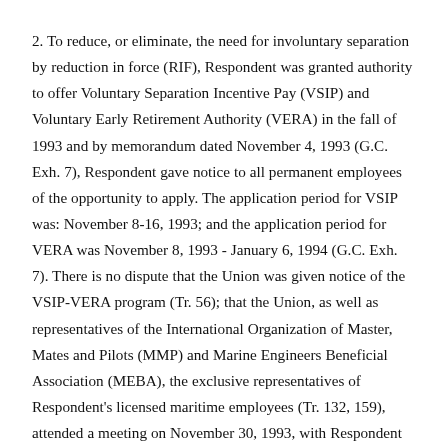2. To reduce, or eliminate, the need for involuntary separation by reduction in force (RIF), Respondent was granted authority to offer Voluntary Separation Incentive Pay (VSIP) and Voluntary Early Retirement Authority (VERA) in the fall of 1993 and by memorandum dated November 4, 1993 (G.C. Exh. 7), Respondent gave notice to all permanent employees of the opportunity to apply. The application period for VSIP was: November 8-16, 1993; and the application period for VERA was November 8, 1993 - January 6, 1994 (G.C. Exh. 7). There is no dispute that the Union was given notice of the VSIP-VERA program (Tr. 56); that the Union, as well as representatives of the International Organization of Master, Mates and Pilots (MMP) and Marine Engineers Beneficial Association (MEBA), the exclusive representatives of Respondent's licensed maritime employees (Tr. 132, 159), attended a meeting on November 30, 1993, with Respondent concerning the program (Tr. 52-56;